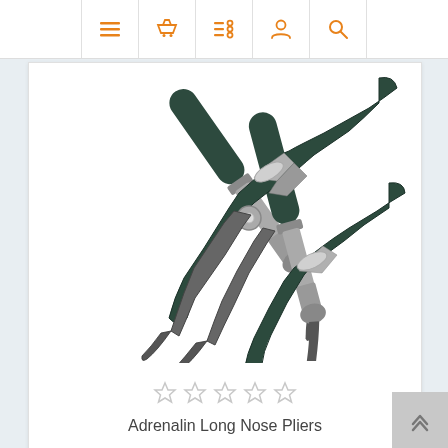[Figure (screenshot): Website navigation bar with orange icons: hamburger menu, shopping basket, filter/list, user profile, and search magnifying glass]
[Figure (photo): Adrenalin Long Nose Pliers with bent/curved tips, silver metal body with dark green/black rubber grip handles, shown at a diagonal angle on white background]
Adrenalin Long Nose Pliers